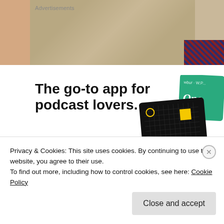[Figure (photo): Partial photo of person wearing knit sweater and plaid shirt, cropped at top of page]
Advertisements
[Figure (infographic): Pocket Casts podcast app advertisement showing headline 'The go-to app for podcast lovers.' with podcast card artwork including 99% Invisible, WBUR, and other podcast covers]
Download now
Privacy & Cookies: This site uses cookies. By continuing to use this website, you agree to their use.
To find out more, including how to control cookies, see here: Cookie Policy
Close and accept